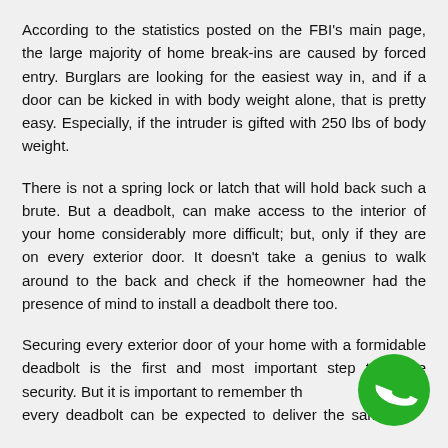According to the statistics posted on the FBI's main page, the large majority of home break-ins are caused by forced entry. Burglars are looking for the easiest way in, and if a door can be kicked in with body weight alone, that is pretty easy. Especially, if the intruder is gifted with 250 lbs of body weight.
There is not a spring lock or latch that will hold back such a brute. But a deadbolt, can make access to the interior of your home considerably more difficult; but, only if they are on every exterior door. It doesn't take a genius to walk around to the back and check if the homeowner had the presence of mind to install a deadbolt there too.
Securing every exterior door of your home with a formidable deadbolt is the first and most important step to home security. But it is important to remember that not every deadbolt can be expected to deliver the same level of security.
[Figure (illustration): Green circular phone call button icon with white phone handset symbol, positioned in bottom right corner]